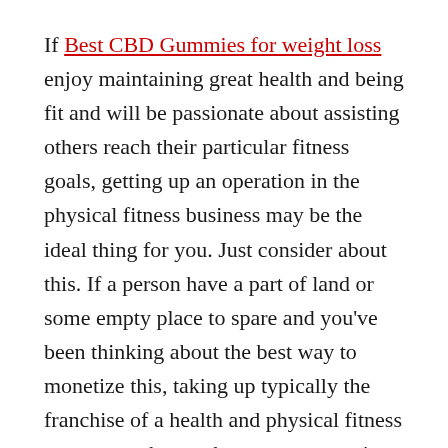If Best CBD Gummies for weight loss enjoy maintaining great health and being fit and will be passionate about assisting others reach their particular fitness goals, getting up an operation in the physical fitness business may be the ideal thing for you. Just consider about this. If a person have a part of land or some empty place to spare and you've been thinking about the best way to monetize this, taking up typically the franchise of a health and physical fitness center can change that vacant space into a profitable company.
Being enthusiastic concerning fitness and health really allows. Ideas an edge over someone else which doesn't share your own passion for this kind of things but only wants to begin a business inside health and physical